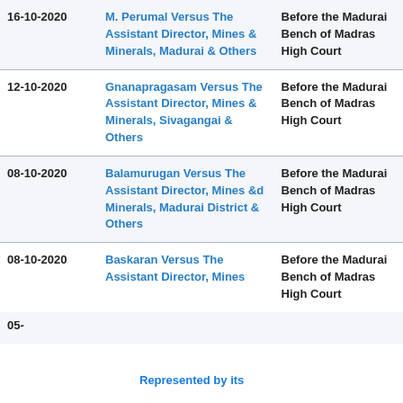| Date | Case | Court |
| --- | --- | --- |
| 16-10-2020 | M. Perumal Versus The Assistant Director, Mines & Minerals, Madurai & Others | Before the Madurai Bench of Madras High Court |
| 12-10-2020 | Gnanapragasam Versus The Assistant Director, Mines & Minerals, Sivagangai & Others | Before the Madurai Bench of Madras High Court |
| 08-10-2020 | Balamurugan Versus The Assistant Director, Mines &d Minerals, Madurai District & Others | Before the Madurai Bench of Madras High Court |
| 08-10-2020 | Baskaran Versus The Assistant Director, Mines ... | Before the Madurai Bench of Madras High Court |
| 05-... | ... | ... |
[Figure (screenshot): Navigation bar with three buttons: Intro (home icon), Search (magnifier icon), Report (document icon), displayed on a blue dashed-border rounded rectangle background]
Represented by its